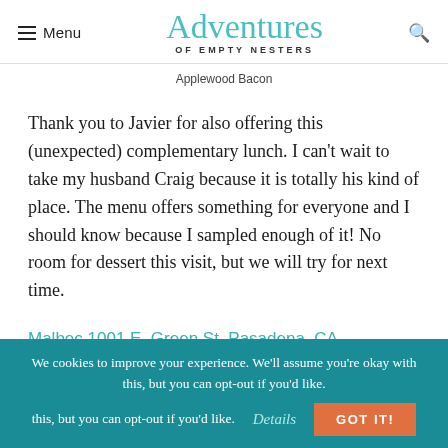Adventures of Empty Nesters
Applewood Bacon
Thank you to Javier for also offering this (unexpected) complementary lunch. I can't wait to take my husband Craig because it is totally his kind of place. The menu offers something for everyone and I should know because I sampled enough of it! No room for dessert this visit, but we will try for next time.
Malbec 1001 E. Green St, Pasadena, CA
We cookies to improve your experience. We'll assume you're okay with this, but you can opt-out if you'd like. Details GOT IT!